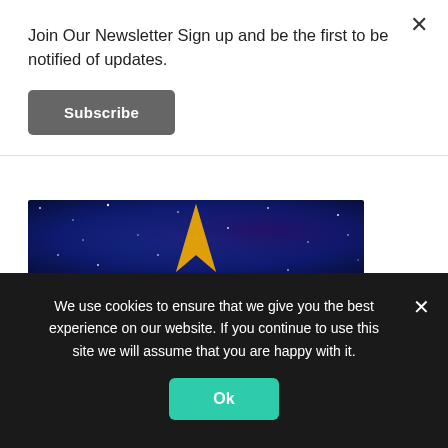Join Our Newsletter Sign up and be the first to be notified of updates.
Subscribe
[Figure (photo): Space/galaxy background image with a golden Star Trek-style delta/arrow shape in the center on a blue starfield]
2017 T SHIRTS
[Figure (photo): Partial photo of a person wearing a t-shirt, cropped at top of the page content]
We use cookies to ensure that we give you the best experience on our website. If you continue to use this site we will assume that you are happy with it.
Ok